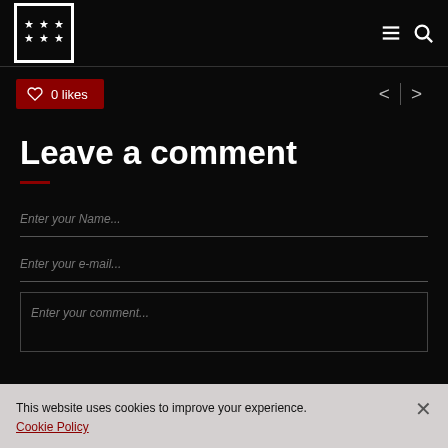Navigation header with logo and menu/search icons
0 likes
Leave a comment
Enter your Name...
Enter your e-mail...
Enter your comment...
This website uses cookies to improve your experience. Cookie Policy